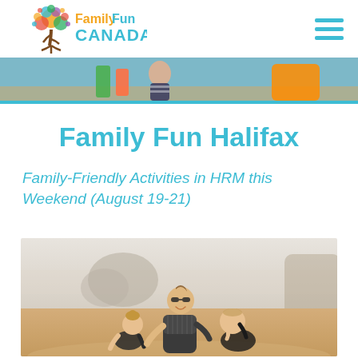Family Fun Canada
[Figure (photo): Banner strip showing people with colorful kayaks/canoes at water]
Family Fun Halifax
Family-Friendly Activities in HRM this Weekend (August 19-21)
[Figure (photo): Mother with two young children playing on a beach, rocky cliffs in background, warm sunny scene]